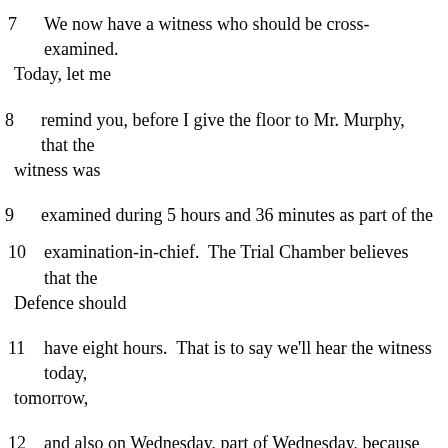7    We now have a witness who should be cross-examined. Today, let me
8    remind you, before I give the floor to Mr. Murphy, that the witness was
9    examined during 5 hours and 36 minutes as part of the
10   examination-in-chief.  The Trial Chamber believes that the Defence should
11   have eight hours.  That is to say we'll hear the witness today, tomorrow,
12   and also on Wednesday, part of Wednesday, because we have another witness